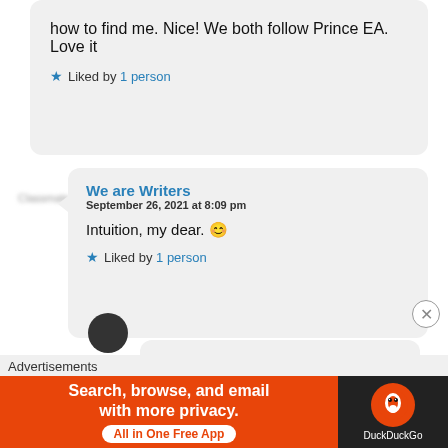how to find me. Nice! We both follow Prince EA. Love it
Liked by 1 person
We are Writers
September 26, 2021 at 8:09 pm
Intuition, my dear. 😊
Liked by 1 person
Advertisements
[Figure (screenshot): DuckDuckGo advertisement banner: Search, browse, and email with more privacy. All in One Free App. DuckDuckGo logo.]